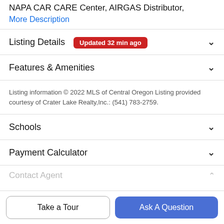NAPA CAR CARE Center, AIRGAS Distributor,
More Description
Listing Details Updated 32 min ago
Features & Amenities
Listing information © 2022 MLS of Central Oregon Listing provided courtesy of Crater Lake Realty,Inc.: (541) 783-2759.
Schools
Payment Calculator
Contact Agent
Take a Tour
Ask A Question